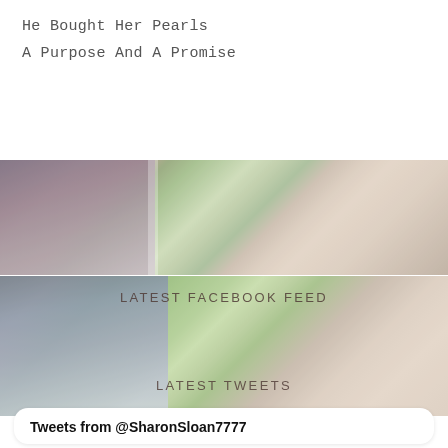He Bought Her Pearls
A Purpose And A Promise
[Figure (photo): Outdoor scene with a person standing among trees, muted warm tones, upper photo strip]
LATEST FACEBOOK FEED
[Figure (photo): Outdoor scene with a blonde person standing near trees in a park, lower photo strip]
LATEST TWEETS
Tweets from @SharonSloan7777